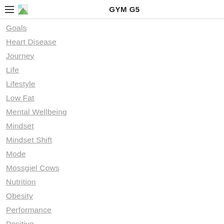GYM G5
Goals
Heart Disease
Journey
Life
Lifestyle
Low Fat
Mental Wellbeing
Mindset
Mindset Shift
Mode
Mossgiel Cows
Nutrition
Obesity
Performance
Positive
Progress
Recovery